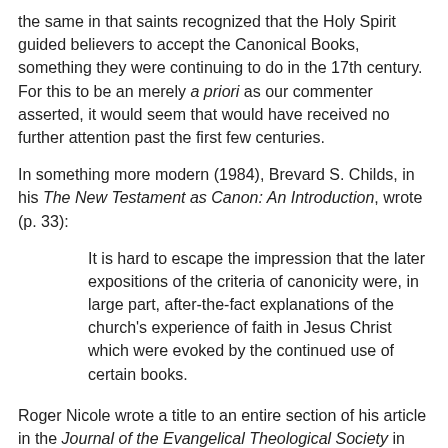the same in that saints recognized that the Holy Spirit guided believers to accept the Canonical Books, something they were continuing to do in the 17th century. For this to be an merely a priori as our commenter asserted, it would seem that would have received no further attention past the first few centuries.
In something more modern (1984), Brevard S. Childs, in his The New Testament as Canon: An Introduction, wrote (p. 33):
It is hard to escape the impression that the later expositions of the criteria of canonicity were, in large part, after-the-fact explanations of the church's experience of faith in Jesus Christ which were evoked by the continued use of certain books.
Roger Nicole wrote a title to an entire section of his article in the Journal of the Evangelical Theological Society in June